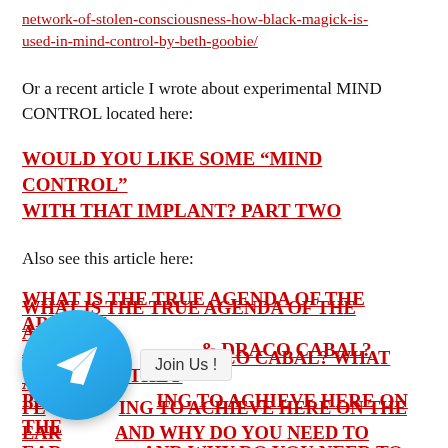network-of-stolen-consciousness-how-black-magick-is-used-in-mind-control-by-beth-goobie/
Or a recent article I wrote about experimental MIND CONTROL located here:
WOULD YOU LIKE SOME “MIND CONTROL” WITH THAT IMPLANT? PART TWO
Also see this article here:
WHAT IS THE TRUE AGENDA OF THE ARCHON, ANNUNAKI & DRACO CABAL? WHAT ARE THEY PLANNING TO ACHIEVE HERE ON THE EARTH AND WHY DO YOU NEED TO KNOW?
[Figure (other): Telegram app icon (blue circle with white paper plane arrow) with 'Join Us!' label]